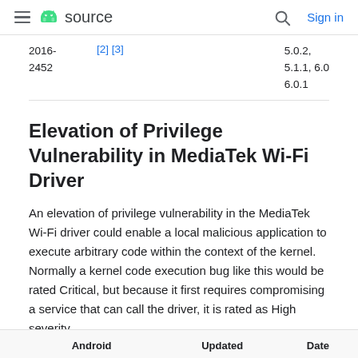≡ android source  🔍  Sign in
| CVE | References | Versions |
| --- | --- | --- |
| 2016-2452 | [2] [3] | 5.0.2, 5.1.1, 6.0, 6.0.1 |
Elevation of Privilege Vulnerability in MediaTek Wi-Fi Driver
An elevation of privilege vulnerability in the MediaTek Wi-Fi driver could enable a local malicious application to execute arbitrary code within the context of the kernel. Normally a kernel code execution bug like this would be rated Critical, but because it first requires compromising a service that can call the driver, it is rated as High severity.
| Android | Updated | Date |
| --- | --- | --- |